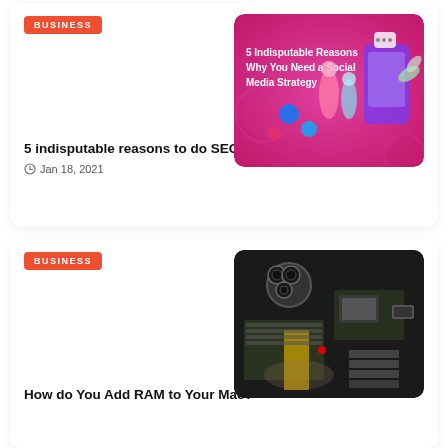BUSINESS
[Figure (illustration): Colorful infographic on pink/magenta background showing '5 Indisputable Reasons Why You Need a Social Media Strategy' with illustrated characters and social media icons]
5 indisputable reasons to do SEO
Jan 18, 2021
BUSINESS
[Figure (photo): Close-up photo of a laptop/Mac motherboard with electronic components, circuit board and connectors visible]
How do You Add RAM to Your Mac?